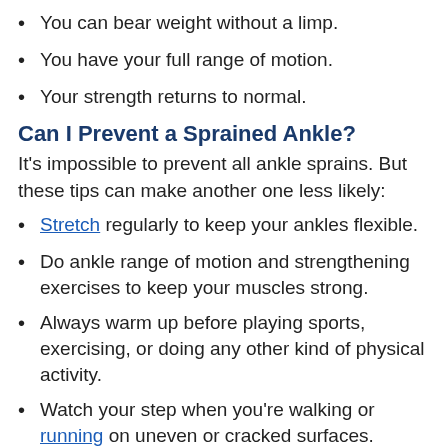You can bear weight without a limp.
You have your full range of motion.
Your strength returns to normal.
Can I Prevent a Sprained Ankle?
It's impossible to prevent all ankle sprains. But these tips can make another one less likely:
Stretch regularly to keep your ankles flexible.
Do ankle range of motion and strengthening exercises to keep your muscles strong.
Always warm up before playing sports, exercising, or doing any other kind of physical activity.
Watch your step when you're walking or running on uneven or cracked surfaces.